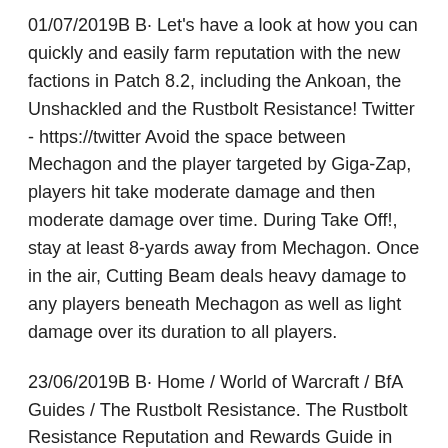01/07/2019В В· Let's have a look at how you can quickly and easily farm reputation with the new factions in Patch 8.2, including the Ankoan, the Unshackled and the Rustbolt Resistance! Twitter - https://twitter Avoid the space between Mechagon and the player targeted by Giga-Zap, players hit take moderate damage and then moderate damage over time. During Take Off!, stay at least 8-yards away from Mechagon. Once in the air, Cutting Beam deals heavy damage to any players beneath Mechagon as well as light damage over its duration to all players.
23/06/2019В В· Home / World of Warcraft / BfA Guides / The Rustbolt Resistance. The Rustbolt Resistance Reputation and Rewards Guide in Battle for Azeroth (BfA 8.2) Last updated on Jun 23, 2019 at 23:31 by KingValnimsil 1 comment. The Rustbolt Resistance are a new neutral faction released in